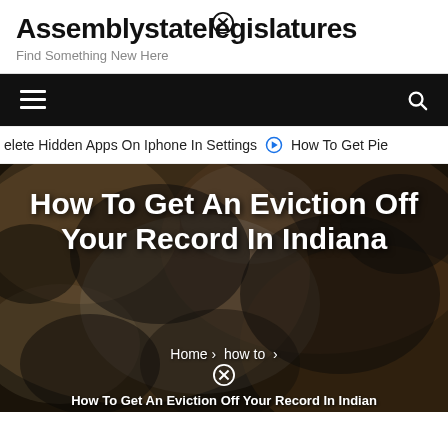Assemblystatelegislatures
Find Something New Here
[Figure (screenshot): Black navigation bar with hamburger menu icon on left and search icon on right]
elete Hidden Apps On Iphone In Settings   ⊙ How To Get Pie
[Figure (photo): Bleached/tie-dye patterned shirt hanging against brick wall, with article title overlay: How To Get An Eviction Off Your Record In Indiana. Breadcrumb: Home > how to > How To Get An Eviction Off Your Record In Indiana]
How To Get An Eviction Off Your Record In Indiana
Home › how to ›
How To Get An Eviction Off Your Record In Indiana